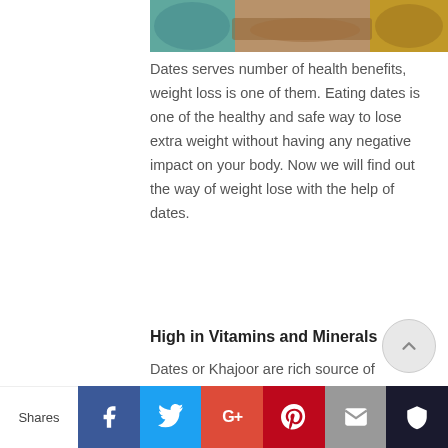[Figure (photo): Photo of dates/food items in bowls on a wooden surface, partially cropped at top of page]
Dates serves number of health benefits, weight loss is one of them. Eating dates is one of the healthy and safe way to lose extra weight without having any negative impact on your body. Now we will find out the way of weight lose with the help of dates.
High in Vitamins and Minerals
Dates or Khajoor are rich source of vitamins and minerals which are essential for you to fill your hunger...